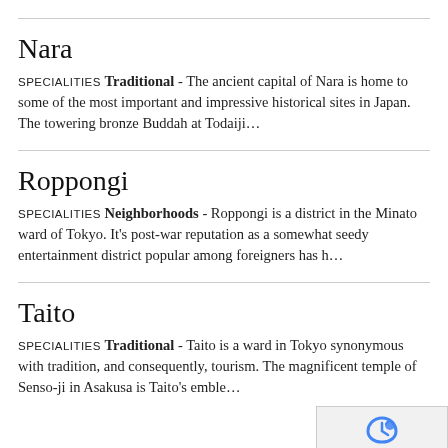Nara
SPECIALITIES TRADITIONAL - The ancient capital of Nara is home to some of the most important and impressive historical sites in Japan. The towering bronze Buddah at Todaiji...
Roppongi
SPECIALITIES NEIGHBORHOODS - Roppongi is a district in the Minato ward of Tokyo. It's post-war reputation as a somewhat seedy entertainment district popular among foreigners has h...
Taito
SPECIALITIES TRADITIONAL - Taito is a ward in Tokyo synonymous with tradition, and consequently, tourism. The magnificent temple of Senso-ji in Asakusa is Taito's emble...